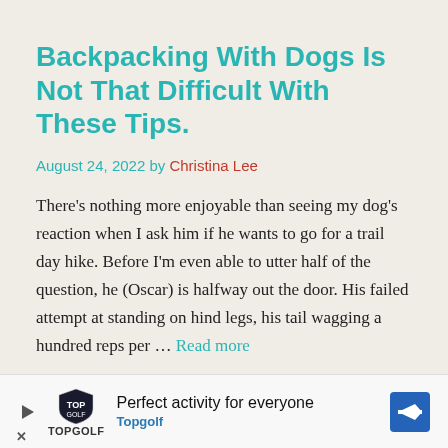Backpacking With Dogs Is Not That Difficult With These Tips.
August 24, 2022 by Christina Lee
There’s nothing more enjoyable than seeing my dog’s reaction when I ask him if he wants to go for a trail day hike. Before I’m even able to utter half of the question, he (Oscar) is halfway out the door. His failed attempt at standing on hind legs, his tail wagging a hundred reps per … Read more
Practical And Safety Solo Camping